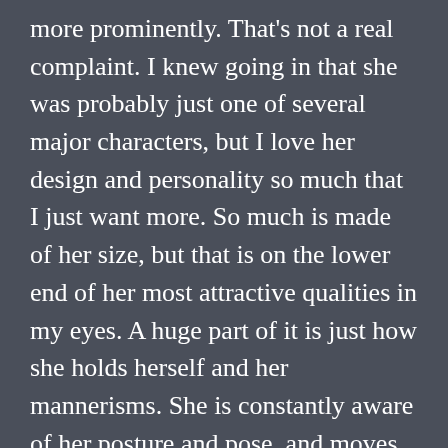more prominently. That's not a real complaint. I knew going in that she was probably just one of several major characters, but I love her design and personality so much that I just want more. So much is made of her size, but that is on the lower end of her most attractive qualities in my eyes. A huge part of it is just how she holds herself and her mannerisms. She is constantly aware of her posture and pose, and moves with determined grace. She doesn't just command her daughters to string me up – she does so with a stylish flourish of her hands before placing them firmly on her hips. In her argument with Heisenberg, she booms at him with a commanding voice before switching effortlessly to a soft lilt and tossing